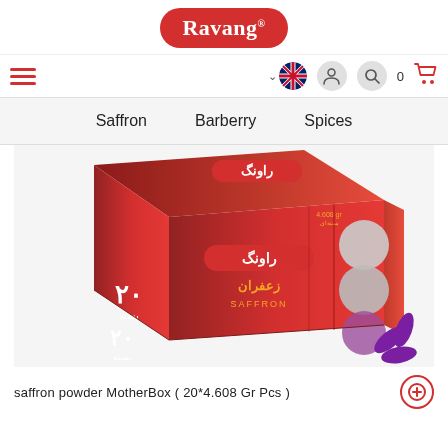[Figure (logo): Ravang brand logo - red rounded rectangle with white text]
[Figure (infographic): Navigation bar with hamburger menu (red), UK flag with dropdown caret, person icon, search icon, cart count 0, red shopping cart icon]
Saffron   Barberry   Spices
[Figure (photo): Product photo of Ravang saffron powder MotherBox (20*4.608 Gr Pcs) - red box with Arabic/Persian text and saffron flower imagery]
saffron powder MotherBox ( 20*4.608 Gr Pcs )